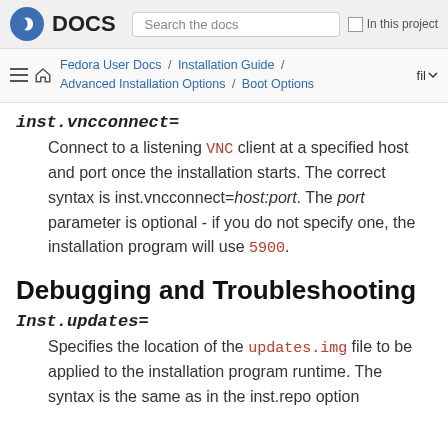DOCS  Search the docs  In this project
Fedora User Docs / Installation Guide / Advanced Installation Options / Boot Options  fil
inst.vncconnect=
Connect to a listening VNC client at a specified host and port once the installation starts. The correct syntax is inst.vncconnect=host:port. The port parameter is optional - if you do not specify one, the installation program will use 5900.
Debugging and Troubleshooting
Inst.updates=
Specifies the location of the updates.img file to be applied to the installation program runtime. The syntax is the same as in the inst.repo option